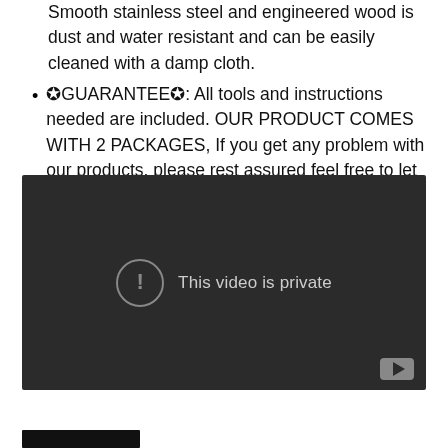Smooth stainless steel and engineered wood is dust and water resistant and can be easily cleaned with a damp cloth.
✪GUARANTEE✪: All tools and instructions needed are included. OUR PRODUCT COMES WITH 2 PACKAGES, If you get any problem with our products, please rest assured feel free to let us know.
[Figure (screenshot): Embedded video player showing a dark background with a circle exclamation icon and text 'This video is private', with a YouTube logo in the bottom right corner.]